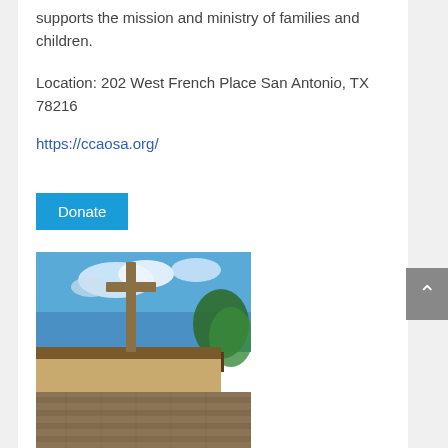supports the mission and ministry of families and children.
Location: 202 West French Place San Antonio, TX 78216
https://ccaosa.org/
Donate
[Figure (photo): Exterior photo of a church building with a large stone cross in front, stone facade, and trees under a blue sky with clouds.]
William C Martin St. Pius X Catholic Church – San Antonio, Texas